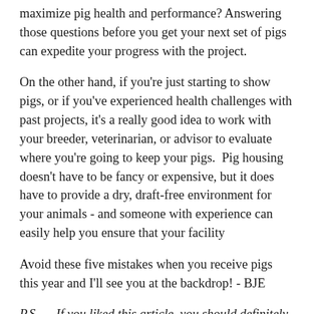maximize pig health and performance? Answering those questions before you get your next set of pigs can expedite your progress with the project.
On the other hand, if you're just starting to show pigs, or if you've experienced health challenges with past projects, it's a really good idea to work with your breeder, veterinarian, or advisor to evaluate where you're going to keep your pigs.  Pig housing doesn't have to be fancy or expensive, but it does have to provide a dry, draft-free environment for your animals - and someone with experience can easily help you ensure that your facility
Avoid these five mistakes when you receive pigs this year and I'll see you at the backdrop! - BJE
P.S.  -  If you liked this article, you should definitely check out The Show Pig Guide to Show Pig Health...